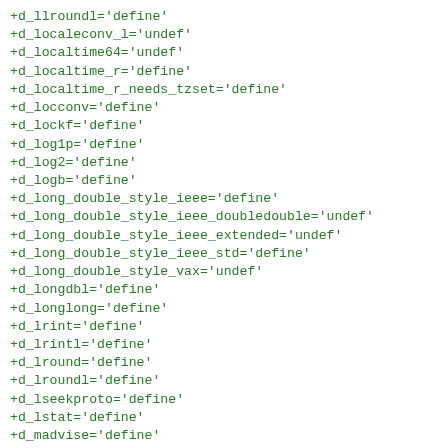+d_llroundl='define'
+d_localeconv_l='undef'
+d_localtime64='undef'
+d_localtime_r='define'
+d_localtime_r_needs_tzset='define'
+d_locconv='define'
+d_lockf='define'
+d_log1p='define'
+d_log2='define'
+d_logb='define'
+d_long_double_style_ieee='define'
+d_long_double_style_ieee_doubledouble='undef'
+d_long_double_style_ieee_extended='undef'
+d_long_double_style_ieee_std='define'
+d_long_double_style_vax='undef'
+d_longdbl='define'
+d_longlong='define'
+d_lrint='define'
+d_lrintl='define'
+d_lround='define'
+d_lroundl='define'
+d_lseekproto='define'
+d_lstat='define'
+d_madvise='define'
+d_malloc_good_size='undef'
+d_malloc_size='undef'
+d_mblen='define'
+d_mbrlen='define'
+d_mbrtowc='define'
+d_mbstowcs='define'